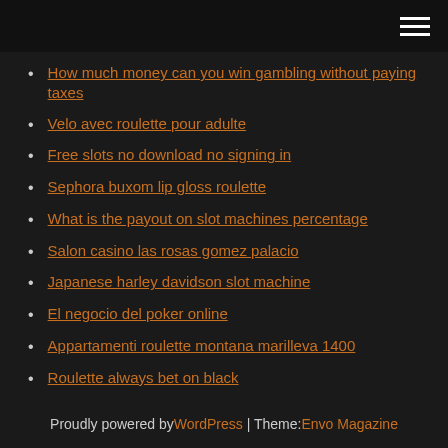[hamburger menu icon]
How much money can you win gambling without paying taxes
Velo avec roulette pour adulte
Free slots no download no signing in
Sephora buxom lip gloss roulette
What is the payout on slot machines percentage
Salon casino las rosas gomez palacio
Japanese harley davidson slot machine
El negocio del poker online
Appartamenti roulette montana marilleva 1400
Roulette always bet on black
Proudly powered by WordPress | Theme: Envo Magazine